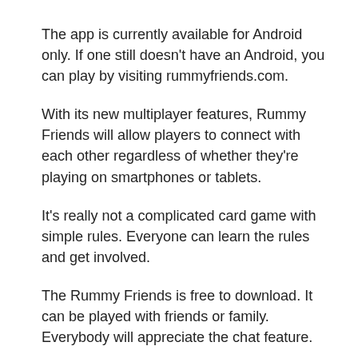The app is currently available for Android only. If one still doesn't have an Android, you can play by visiting rummyfriends.com.
With its new multiplayer features, Rummy Friends will allow players to connect with each other regardless of whether they're playing on smartphones or tablets.
It's really not a complicated card game with simple rules. Everyone can learn the rules and get involved.
The Rummy Friends is free to download. It can be played with friends or family. Everybody will appreciate the chat feature.